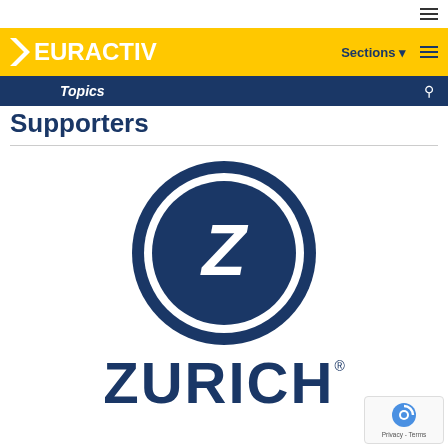EURACTIV
Topics
Supporters
[Figure (logo): Zurich Insurance Group logo — blue circle with white letter Z inside, and the word ZURICH in large bold dark blue letters below with a registered trademark symbol]